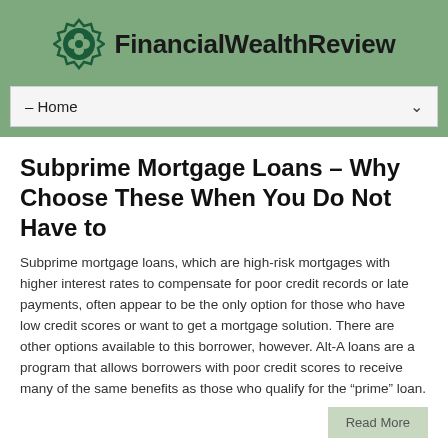FinancialWealthReview
— Home
Subprime Mortgage Loans – Why Choose These When You Do Not Have to
Subprime mortgage loans, which are high-risk mortgages with higher interest rates to compensate for poor credit records or late payments, often appear to be the only option for those who have low credit scores or want to get a mortgage solution. There are other options available to this borrower, however. Alt-A loans are a program that allows borrowers with poor credit scores to receive many of the same benefits as those who qualify for the "prime" loan.
Read More
The Truth About Reverse Mortgage Loan Prices